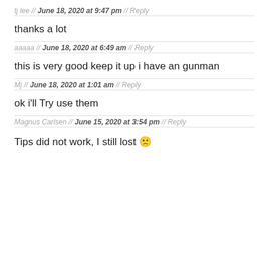tj lee // June 18, 2020 at 9:47 pm // Reply
thanks a lot
aaaaa // June 18, 2020 at 6:49 am // Reply
this is very good keep it up i have an gunman
Mj // June 18, 2020 at 1:01 am // Reply
ok i'll Try use them
Magnus Carlsen // June 15, 2020 at 3:54 pm // Reply
Tips did not work, I still lost 🙁